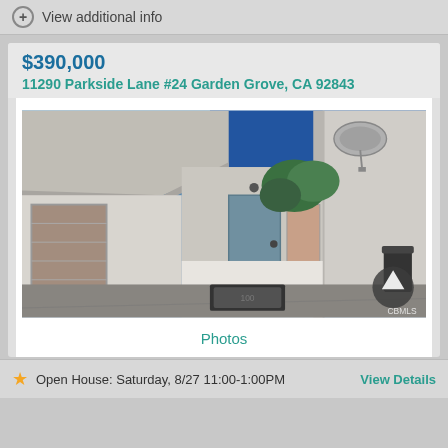View additional info
$390,000
11290 Parkside Lane #24 Garden Grove, CA 92843
[Figure (photo): Exterior photo of a residential property at 11290 Parkside Lane #24, Garden Grove, CA. Shows a courtyard-style view with a blue door, white stucco walls, carport area, satellite dish on roof, blue sky, and a green trash bin to the right. A welcome mat is visible on the ground. CBMLS watermark in bottom right.]
Photos
Open House:  Saturday, 8/27 11:00-1:00PM
View Details